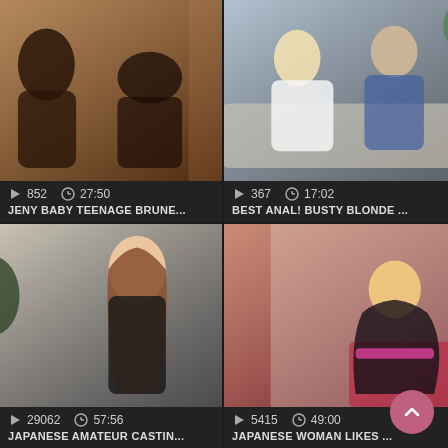[Figure (screenshot): Video thumbnail 1: two people in bedroom scene]
852  27:50
JENY BABY TEENAGE BRUNE...
[Figure (screenshot): Video thumbnail 2: blonde woman and man on couch]
367  17:02
BEST ANAL! BUSTY BLONDE ...
[Figure (screenshot): Video thumbnail 3: Asian woman with long brown hair]
29062  57:56
JAPANESE AMATEUR CASTIN...
[Figure (screenshot): Video thumbnail 4: blonde woman in lingerie]
5415  49:00
JAPANESE WOMAN LIKES ...